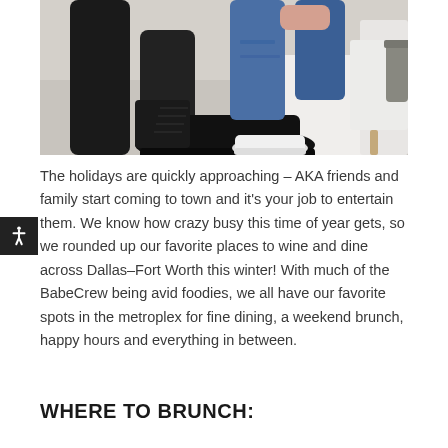[Figure (photo): Two people sitting on a white couch, showing their legs and feet. One person wears black leather pants and black lace-up combat boots, the other wears blue ripped jeans and white sneakers.]
The holidays are quickly approaching – AKA friends and family start coming to town and it's your job to entertain them. We know how crazy busy this time of year gets, so we rounded up our favorite places to wine and dine across Dallas–Fort Worth this winter! With much of the BabeCrew being avid foodies, we all have our favorite spots in the metroplex for fine dining, a weekend brunch, happy hours and everything in between.
WHERE TO BRUNCH: